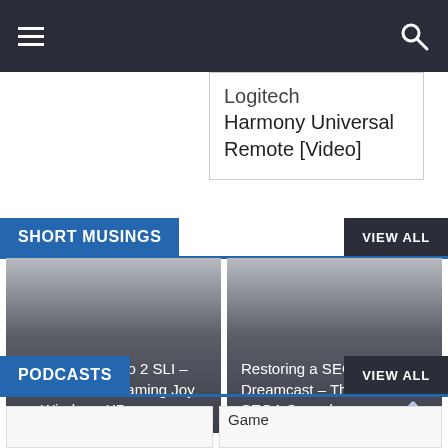Navigation bar with hamburger menu and search icon
Logitech
Harmony Universal Remote [Video]
SHORT MUSINGS
VIEW ALL
The 3Dfx Voodoo 2 SLI – 1024×768 3D Gaming Joy on Windows XP
Restoring a SEGA Dreamcast – The Last True SEGA Console
PODCASTS
VIEW ALL
Game